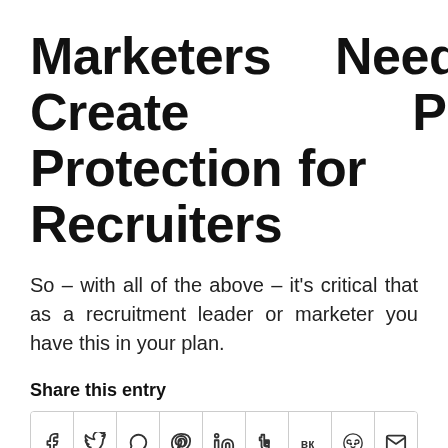Marketers Need to Create Pipeline Protection for Recruiters
So – with all of the above – it's critical that as a recruitment leader or marketer you have this in your plan.
Share this entry
[Figure (other): Social share buttons row: Facebook, Twitter, WhatsApp, Pinterest, LinkedIn, Tumblr, VK, Reddit, Email]